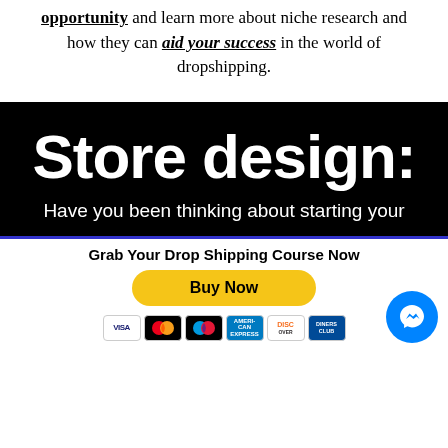opportunity and learn more about niche research and how they can aid your success in the world of dropshipping.
[Figure (infographic): Black banner section with large bold white text 'Store design:' followed by text 'Have you been thinking about starting your']
Grab Your Drop Shipping Course Now
[Figure (infographic): Buy Now button in yellow/gold color with payment icons (VISA, Mastercard, American Express, Discover, Diners Club) and Facebook Messenger chat bubble icon]